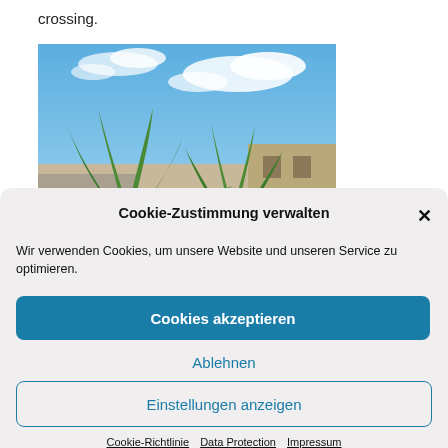crossing.
[Figure (photo): Outdoor photograph showing large spiky tropical plants (likely agave or yucca) against a blue sky with white clouds, and a building visible in the background.]
Cookie-Zustimmung verwalten
Wir verwenden Cookies, um unsere Website und unseren Service zu optimieren.
Cookies akzeptieren
Ablehnen
Einstellungen anzeigen
Cookie-Richtlinie   Data Protection   Impressum